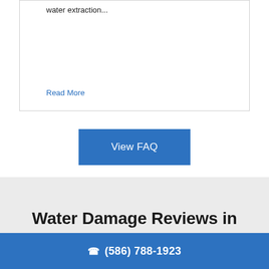water extraction...
Read More
View FAQ
Water Damage Reviews in
(586) 788-1923